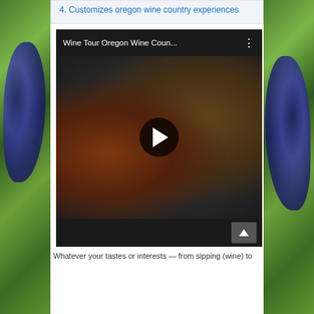4. Customizes oregon wine country experiences
[Figure (screenshot): YouTube video thumbnail titled 'Wine Tour Oregon Wine Coun...' showing a table with wine glasses, a charcuterie/cheese board, bread, and snacks in a dark overlay. A play button is visible in the center. A three-dot menu icon appears top right.]
Whatever your tastes or interests — from sipping (wine) to